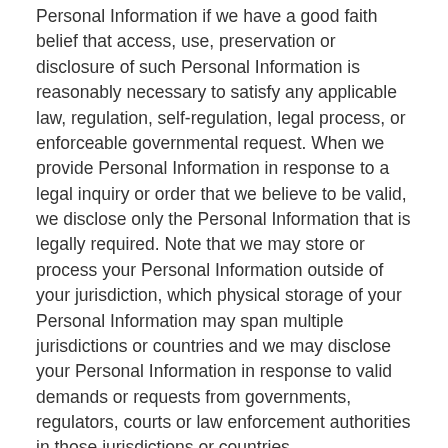Personal Information if we have a good faith belief that access, use, preservation or disclosure of such Personal Information is reasonably necessary to satisfy any applicable law, regulation, self-regulation, legal process, or enforceable governmental request. When we provide Personal Information in response to a legal inquiry or order that we believe to be valid, we disclose only the Personal Information that is legally required. Note that we may store or process your Personal Information outside of your jurisdiction, which physical storage of your Personal Information may span multiple jurisdictions or countries and we may disclose your Personal Information in response to valid demands or requests from governments, regulators, courts or law enforcement authorities in those jurisdictions or countries.
f. Protection of our interests. We may also disclose your Personal Information if we believe, in good faith, that it is appropriate or necessary to take precautions against